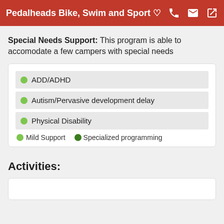Pedalheads Bike, Swim and Sport
Special Needs Support: This program is able to accomodate a few campers with special needs
ADD/ADHD
Autism/Pervasive development delay
Physical Disability
Mild Support  Specialized programming
Activities: